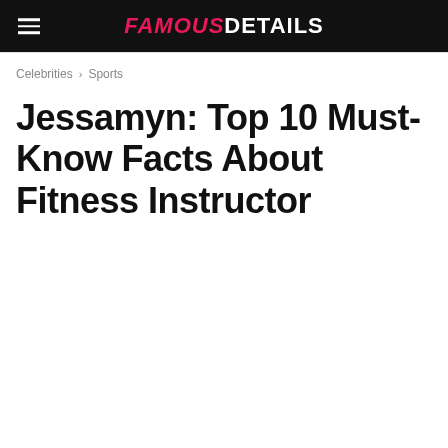FAMOUS DETAILS
Celebrities › Sports
Jessamyn: Top 10 Must-Know Facts About Fitness Instructor